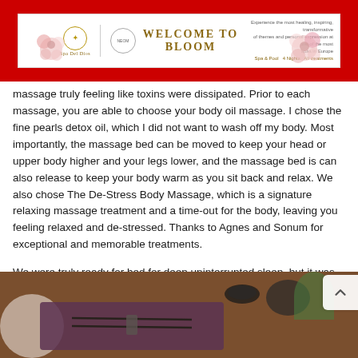[Figure (infographic): Red banner header with white rectangular advertisement banner inside reading 'WELCOME TO BLOOM' in gold letters, with logos and floral decorations on the sides and small text on the right.]
massage truly feeling like toxins were dissipated. Prior to each massage, you are able to choose your body oil massage. I chose the fine pearls detox oil, which I did not want to wash off my body. Most importantly, the massage bed can be moved to keep your head or upper body higher and your legs lower, and the massage bed is can also release to keep your body warm as you sit back and relax. We also chose The De-Stress Body Massage, which is a signature relaxing massage treatment and a time-out for the body, leaving you feeling relaxed and de-stressed. Thanks to Agnes and Sonum for exceptional and memorable treatments.
We were truly ready for bed for deep uninterrupted sleep, but it was time for dinner.
[Figure (photo): Photograph of a restaurant table setting with chopsticks on a dark purple/maroon mat, a dark sauce dish, a bowl with green garnish, on a wooden table surface. Partial white plate visible on the left.]